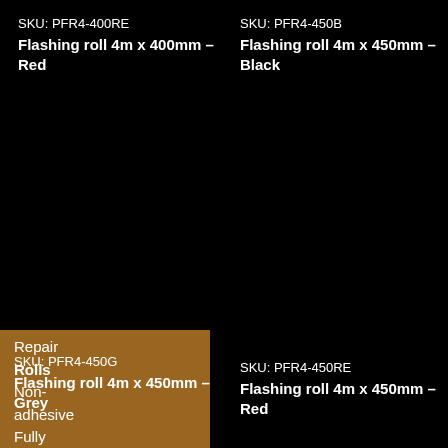SKU: PFR4-400RE
Flashing roll 4m x 400mm – Red
SKU: PFR4-450B
Flashing roll 4m x 450mm – Black
Repair
Rolls
Non-
adhesive
SKU: PFR4-450G
Flashing roll 4m x 450mm – Grey
SKU: PFR4-450RE
Flashing roll 4m x 450mm – Red
Fully